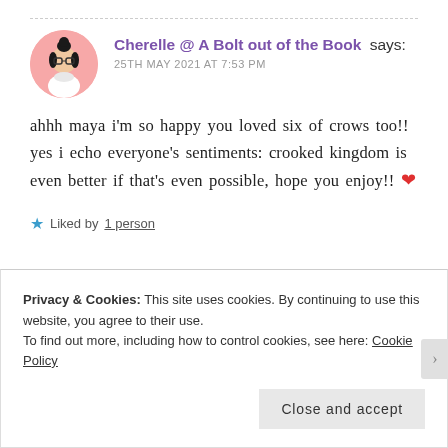Cherelle @ A Bolt out of the Book says:
25TH MAY 2021 AT 7:53 PM
ahhh maya i'm so happy you loved six of crows too!! yes i echo everyone's sentiments: crooked kingdom is even better if that's even possible, hope you enjoy!! ❤
★ Liked by 1 person
Privacy & Cookies: This site uses cookies. By continuing to use this website, you agree to their use.
To find out more, including how to control cookies, see here: Cookie Policy
Close and accept